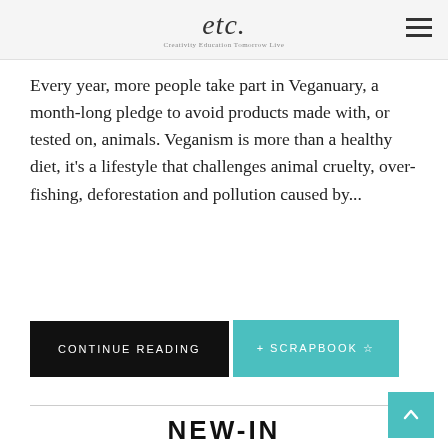etc.
Every year, more people take part in Veganuary, a month-long pledge to avoid products made with, or tested on, animals. Veganism is more than a healthy diet, it's a lifestyle that challenges animal cruelty, over-fishing, deforestation and pollution caused by...
CONTINUE READING
+ SCRAPBOOK ☆
NEW-IN